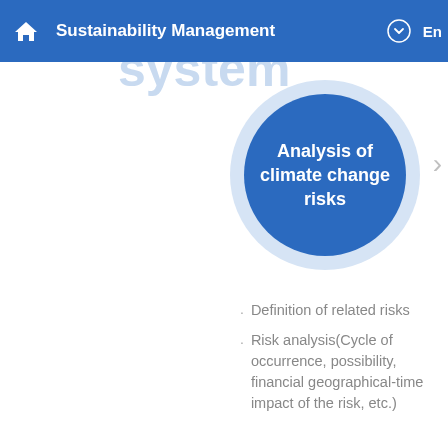Sustainability Management
management system
[Figure (infographic): Circle diagram with outer light-blue ring and inner dark-blue filled circle containing white text 'Analysis of climate change risks']
Definition of related risks
Risk analysis(Cycle of occurrence, possibility, financial geographical-time impact of the risk, etc.)